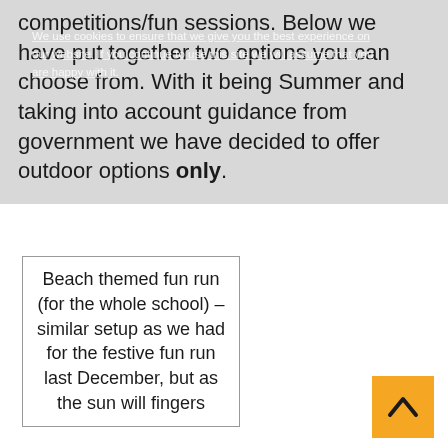competitions/fun sessions.  Below we have put together two options you can choose from.  With it being Summer and taking into account guidance from government we have decided to offer outdoor options only.
We use cookies to ensure that we give you the best experience on our website. If you continue to use this site we will assume that you are happy with it.
| Beach themed fun run (for the whole school) – similar setup as we had for the festive fun run last December, but as the sun will fingers |